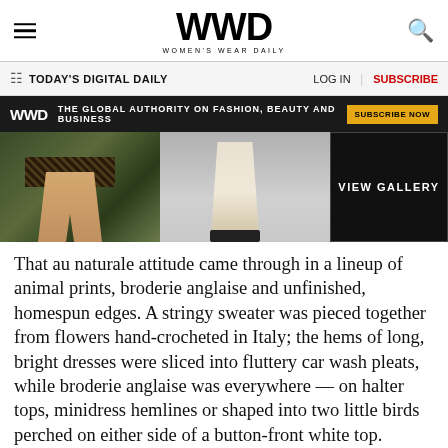WWD — Women's Wear Daily
TODAY'S DIGITAL DAILY   LOG IN   SUBSCRIBE
WWD  THE GLOBAL AUTHORITY ON FASHION, BEAUTY AND BUSINESS  SUBSCRIBE NOW
[Figure (photo): Fashion runway photos showing models' legs and dresses, with a VIEW GALLERY button on the right.]
That au naturale attitude came through in a lineup of animal prints, broderie anglaise and unfinished, homespun edges. A stringy sweater was pieced together from flowers hand-crocheted in Italy; the hems of long, bright dresses were sliced into fluttery car wash pleats, while broderie anglaise was everywhere — on halter tops, minidress hemlines or shaped into two little birds perched on either side of a button-front white top.